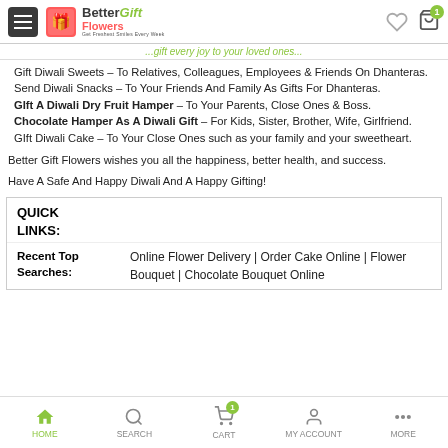Better Flowers Gift — header navigation bar
Gift Diwali Sweets – To Relatives, Colleagues, Employees & Friends On Dhanteras.
Send Diwali Snacks – To Your Friends And Family As Gifts For Dhanteras.
GIft A Diwali Dry Fruit Hamper – To Your Parents, Close Ones & Boss.
Chocolate Hamper As A Diwali Gift – For Kids, Sister, Brother, Wife, Girlfriend.
GIft Diwali Cake – To Your Close Ones such as your family and your sweetheart.
Better Gift Flowers wishes you all the happiness, better health, and success.
Have A Safe And Happy Diwali And A Happy Gifting!
|  |  |
| --- | --- |
| QUICK LINKS: |  |
| Recent Top Searches: | Online Flower Delivery | Order Cake Online | Flower Bouquet | Chocolate Bouquet Online |
HOME | SEARCH | CART | MY ACCOUNT | MORE